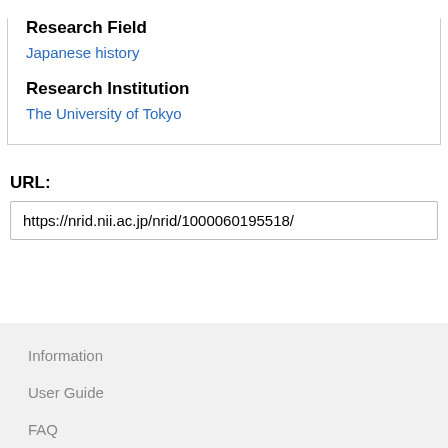Research Field
Japanese history
Research Institution
The University of Tokyo
URL:
https://nrid.nii.ac.jp/nrid/1000060195518/
Information
User Guide
FAQ